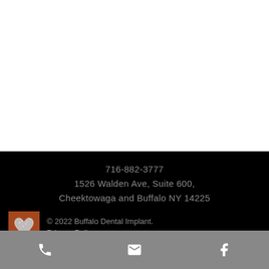716-882-3777
1526 Walden Ave, Suite 600,
Cheektowaga and Buffalo NY 14225
[Figure (logo): Small square image of a glittery heart on a red/orange background — Buffalo Dental Implant logo]
© 2022 Buffalo Dental Implant.
Privacy Policy
[Figure (infographic): Gray social/contact icon bar with three icons: phone, email (envelope), and Facebook]